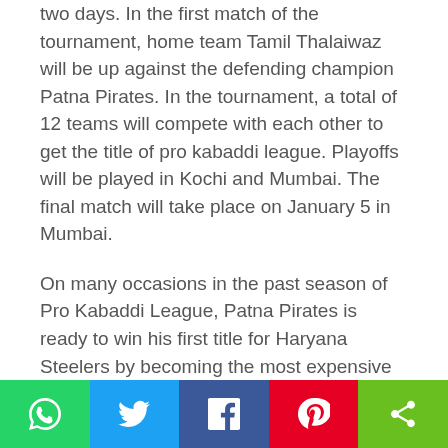two days. In the first match of the tournament, home team Tamil Thalaiwaz will be up against the defending champion Patna Pirates. In the tournament, a total of 12 teams will compete with each other to get the title of pro kabaddi league. Playoffs will be played in Kochi and Mumbai. The final match will take place on January 5 in Mumbai.
On many occasions in the past season of Pro Kabaddi League, Patna Pirates is ready to win his first title for Haryana Steelers by becoming the most expensive player of the league Monu Goyat, who is in charge of Pirates. Haryana has thrown an Ace of its trump in front of the other 11 teams, which can be heavy on them.